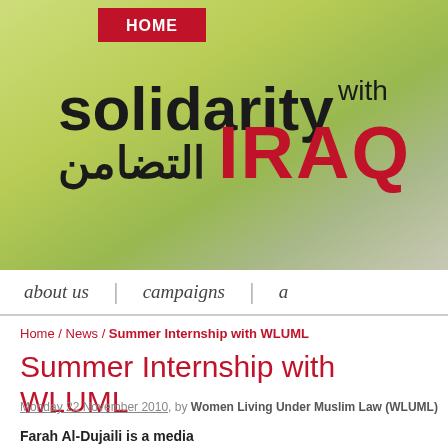[Figure (screenshot): Website banner with gradient green/grey background showing 'solidarity with IRAQ' and Arabic text التضامن, with HOME navigation button]
HOME
about us | campaigns | a
Home / News / Summer Internship with WLUML
Summer Internship with WLUML
Monday 22 November 2010, by Women Living Under Muslim Law (WLUML)
Farah Al-Dujaili is a media